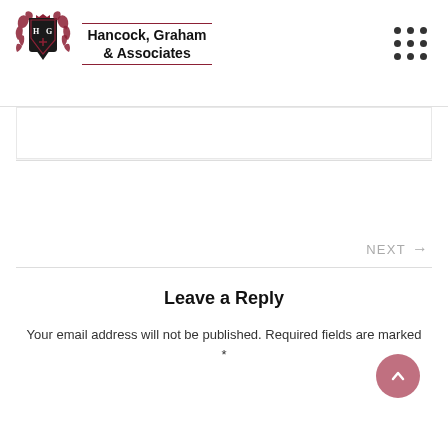[Figure (logo): Hancock, Graham & Associates law firm logo with heraldic shield and decorative flourishes, plus a 3x3 dot grid icon]
Hancock, Graham & Associates
NEXT →
Leave a Reply
Your email address will not be published. Required fields are marked *